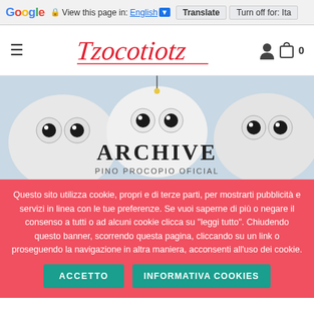Google | View this page in: English | Translate | Turn off for: Ita
[Figure (screenshot): Website navigation bar with hamburger menu, Tzocotiotl logo in red script, user icon, cart icon with 0]
[Figure (photo): Hero image showing artistic owl paintings with text overlay ARCHIVE - PINO PROCOPIO OFICIAL]
Questo sito utilizza cookie, propri e di terze parti, per mostrarti pubblicità e servizi in linea con le tue preferenze. Se vuoi saperne di più o negare il consenso a tutti o ad alcuni cookie clicca su "leggi tutto". Chiudendo questo banner, scorrendo questa pagina, cliccando su un link o proseguendo la navigazione in altra maniera, acconsenti all'uso dei cookie.
ACCETTO
INFORMATIVA COOKIES